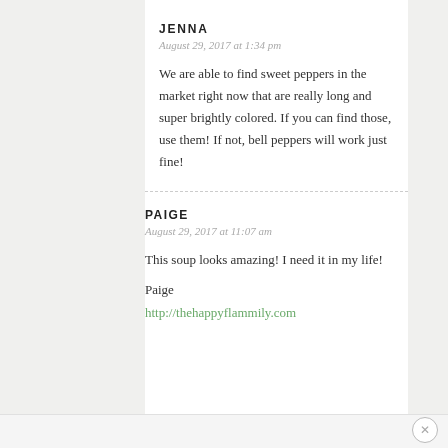JENNA
August 29, 2017 at 1:34 pm
We are able to find sweet peppers in the market right now that are really long and super brightly colored. If you can find those, use them! If not, bell peppers will work just fine!
PAIGE
August 29, 2017 at 11:07 am
This soup looks amazing! I need it in my life!
Paige
http://thehappyflammily.com